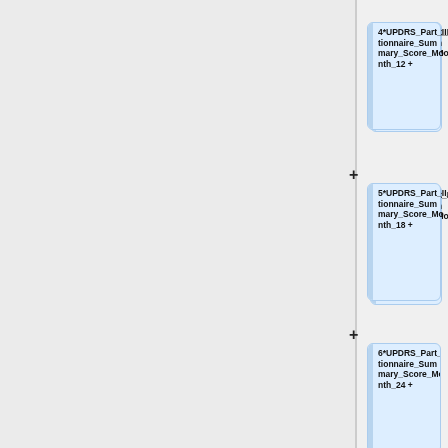[Figure (flowchart): Partial flowchart showing UPDRS Part II Patient Questionnaire Summary Score nodes for Month 12, Month 18, Month 24, and beginning of another node (0*UPDRS Part...), connected vertically with plus signs on the left side. Left panel is grey background with a vertical separator line.]
4*UPDRS_Part_II_Patient_Questionnaire_Summary_Score_Month_12 +
5*UPDRS_Part_II_Patient_Questionnaire_Summary_Score_Month_18 +
6*UPDRS_Part_II_Patient_Questionnaire_Summary_Score_Month_24 +
0*UPDRS_Part...